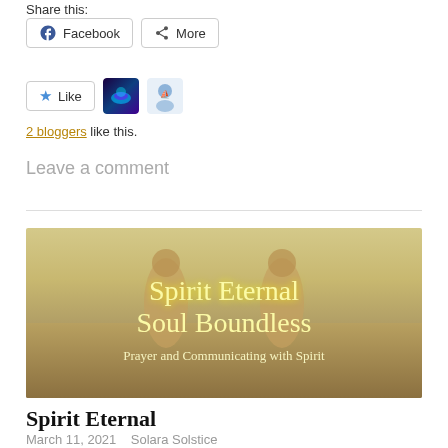Share this:
Facebook   More
[Figure (screenshot): Like button and two blogger avatars]
2 bloggers like this.
Leave a comment
[Figure (photo): Blog post featured image with text overlay reading 'Spirit Eternal Soul Boundless - Prayer and Communicating with Spirit']
Spirit Eternal
March 11, 2021   Solara Solstice